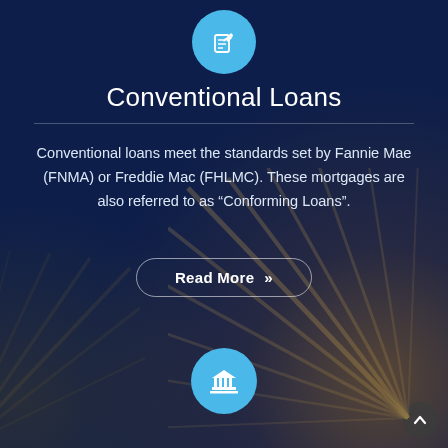[Figure (illustration): Blue circle icon with a document/edit pen icon at the top of the card]
Conventional Loans
Conventional loans meet the standards set by Fannie Mae (FNMA) or Freddie Mac (FHLMC). These mortgages are also referred to as “Conforming Loans”.
[Figure (other): Read More button with double chevron]
[Figure (illustration): Decorative starburst/firework radial light rays in background at bottom corners]
[Figure (illustration): Blue circle icon with a bank/institution (pillar) icon at the bottom of the card]